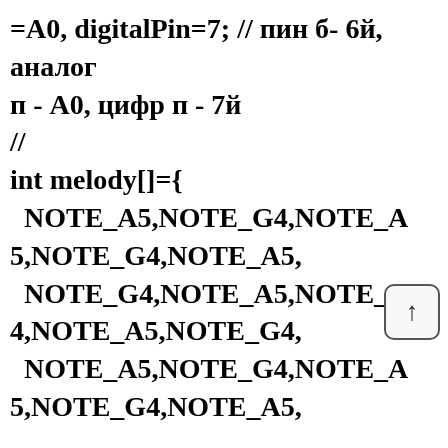=A0, digitalPin=7; // пин б- 6й, аналог п - A0, цифр п - 7й
//
int melody[]={
  NOTE_A5,NOTE_G4,NOTE_A5,NOTE_G4,NOTE_A5,
  NOTE_G4,NOTE_A5,NOTE_G4,NOTE_A5,NOTE_G4,
  NOTE_A5,NOTE_G4,NOTE_A5,NOTE_G4,NOTE_A5,